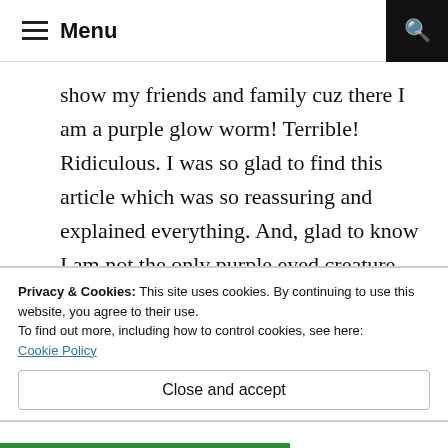Menu
show my friends and family cuz there I am a purple glow worm! Terrible! Ridiculous. I was so glad to find this article which was so reassuring and explained everything. And, glad to know I am not the only purple eyed creature... no more! Redo on those lenses! Maybe they will get a clue!
★ Like
Privacy & Cookies: This site uses cookies. By continuing to use this website, you agree to their use.
To find out more, including how to control cookies, see here:
Cookie Policy
Close and accept